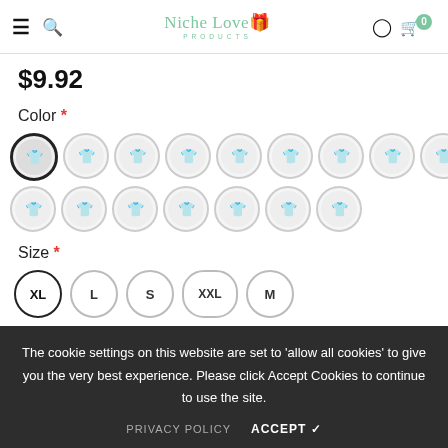Niche Love Products
$9.92
Color *
[Figure (other): Grid of circular t-shirt color/design option thumbnails, 16 circles in two rows. First circle is selected (dark border). All show a white t-shirt with different graphic prints.]
Size *
[Figure (other): Size selector buttons in circles: XL (selected, dark border), L, S, XXL, M]
Quantity
Subtotal: $9.92
The cookie settings on this website are set to 'allow all cookies' to give you the very best experience. Please click Accept Cookies to continue to use the site.